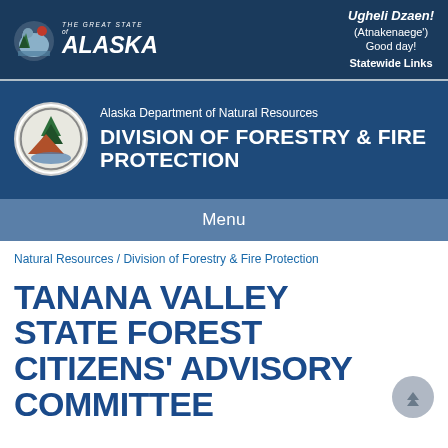[Figure (logo): The Great State of Alaska logo with bear silhouette and text]
Ugheli Dzaen! (Atnakenaege') Good day! Statewide Links
[Figure (logo): Alaska Department of Natural Resources Division of Forestry & Fire Protection circular seal logo]
Alaska Department of Natural Resources DIVISION OF FORESTRY & FIRE PROTECTION
Menu
Natural Resources / Division of Forestry & Fire Protection
TANANA VALLEY STATE FOREST CITIZENS' ADVISORY COMMITTEE